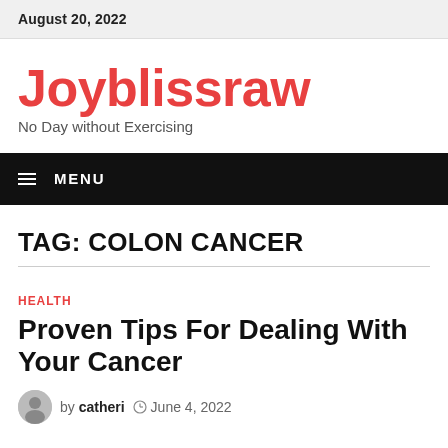August 20, 2022
Joyblissraw
No Day without Exercising
MENU
TAG: COLON CANCER
HEALTH
Proven Tips For Dealing With Your Cancer
by catheri  June 4, 2022